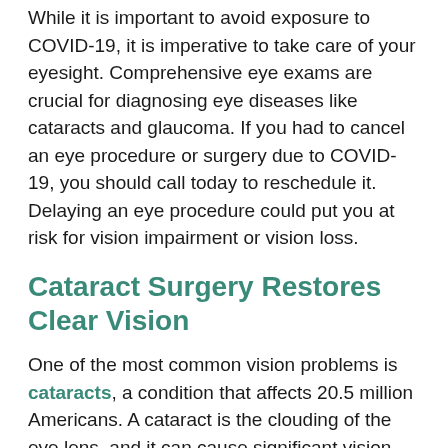While it is important to avoid exposure to COVID-19, it is imperative to take care of your eyesight. Comprehensive eye exams are crucial for diagnosing eye diseases like cataracts and glaucoma. If you had to cancel an eye procedure or surgery due to COVID-19, you should call today to reschedule it. Delaying an eye procedure could put you at risk for vision impairment or vision loss.
Cataract Surgery Restores Clear Vision
One of the most common vision problems is cataracts, a condition that affects 20.5 million Americans. A cataract is the clouding of the eye lens, and it can cause significant vision loss if left untreated.